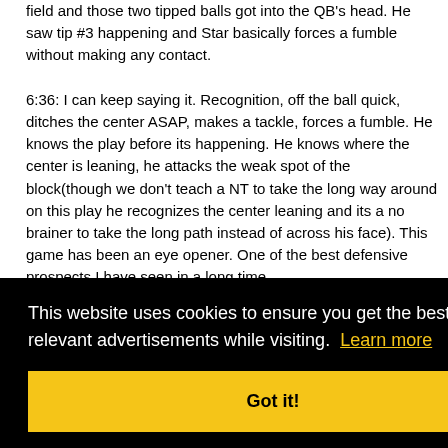field and those two tipped balls got into the QB's head. He saw tip #3 happening and Star basically forces a fumble without making any contact.

6:36: I can keep saying it. Recognition, off the ball quick, ditches the center ASAP, makes a tackle, forces a fumble. He knows the play before its happening. He knows where the center is leaning, he attacks the weak spot of the block(though we don't teach a NT to take the long way around on this play he recognizes the center leaning and its a no brainer to take the long path instead of across his face). This game has been an eye opener. One of the best defensive prospects I have seen in a long time.
her a swim of ass, ugh n his er sink expecting it. Able to add in secondary moves is
This website uses cookies to ensure you get the best experience and relevant advertisements while visiting. Learn more
Got it!